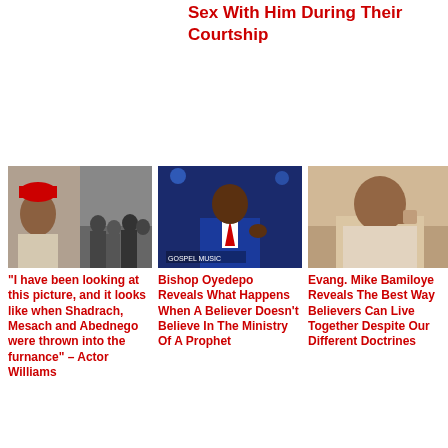Sex With Him During Their Courtship
[Figure (photo): Two-part photo: man in red traditional cap on left, crowd scene on right]
“I have been looking at this picture, and it looks like when Shadrach, Mesach and Abednego were thrown into the furnance” – Actor Williams
[Figure (photo): Bishop Oyedepo speaking at a podium in a blue suit with red tie]
Bishop Oyedepo Reveals What Happens When A Believer Doesn’t Believe In The Ministry Of A Prophet
[Figure (photo): Evang. Mike Bamiloye seated, sepia tone photo]
Evang. Mike Bamiloye Reveals The Best Way Believers Can Live Together Despite Our Different Doctrines